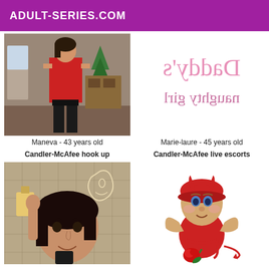ADULT-SERIES.COM
[Figure (photo): Woman wearing red dress and black thigh-high boots standing indoors]
[Figure (photo): White background with pink mirrored/flipped text reading Daddy's naughty girl]
Maneva - 43 years old
Marie-laure - 45 years old
Candler-McAfee hook up
Candler-McAfee live escorts
[Figure (photo): Young woman taking a selfie in a mirror, dark hair, casual indoor setting]
[Figure (illustration): Cartoon illustration of a small devil character wearing red outfit and holding a red rose]